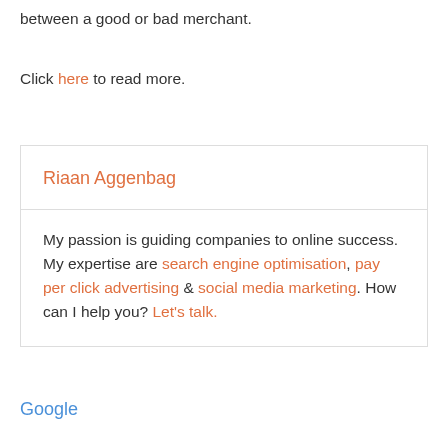between a good or bad merchant.
Click here to read more.
Riaan Aggenbag
My passion is guiding companies to online success. My expertise are search engine optimisation, pay per click advertising & social media marketing. How can I help you? Let's talk.
Google